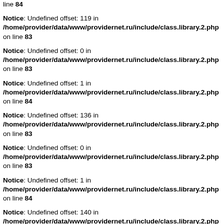line 84
Notice: Undefined offset: 119 in /home/provider/data/www/providernet.ru/include/class.library.2.php on line 83
Notice: Undefined offset: 0 in /home/provider/data/www/providernet.ru/include/class.library.2.php on line 83
Notice: Undefined offset: 1 in /home/provider/data/www/providernet.ru/include/class.library.2.php on line 84
Notice: Undefined offset: 136 in /home/provider/data/www/providernet.ru/include/class.library.2.php on line 83
Notice: Undefined offset: 0 in /home/provider/data/www/providernet.ru/include/class.library.2.php on line 83
Notice: Undefined offset: 1 in /home/provider/data/www/providernet.ru/include/class.library.2.php on line 84
Notice: Undefined offset: 140 in /home/provider/data/www/providernet.ru/include/class.library.2.php on line 83
Notice: Undefined offset: 0 in